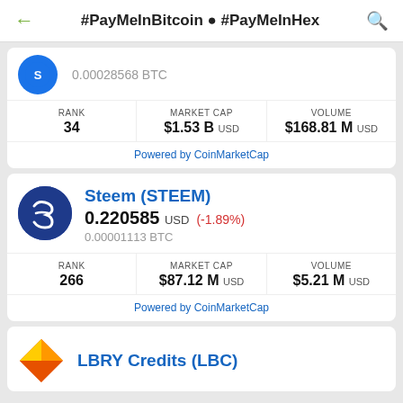#PayMeInBitcoin • #PayMeInHex
0.00028568 BTC
| RANK | MARKET CAP | VOLUME |
| --- | --- | --- |
| 34 | $1.53 B USD | $168.81 M USD |
Powered by CoinMarketCap
Steem (STEEM)
0.220585 USD (-1.89%)
0.00001113 BTC
| RANK | MARKET CAP | VOLUME |
| --- | --- | --- |
| 266 | $87.12 M USD | $5.21 M USD |
Powered by CoinMarketCap
LBRY Credits (LBC)